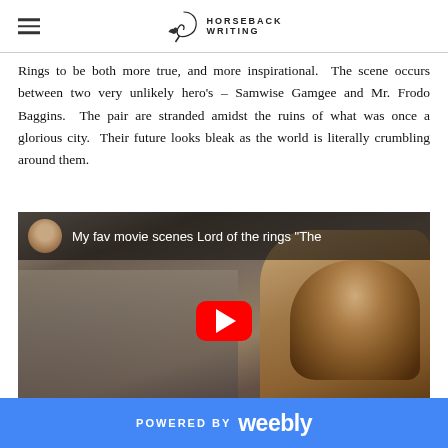Horseback Writing
Rings to be both more true, and more inspirational. The scene occurs between two very unlikely hero's – Samwise Gamgee and Mr. Frodo Baggins. The pair are stranded amidst the ruins of what was once a glorious city. Their future looks bleak as the world is literally crumbling around them.
[Figure (screenshot): YouTube video thumbnail showing 'My fav movie scenes Lord of the rings "The' with a hobbit character (Sam or Frodo) in a cinematic scene, with a red YouTube play button in the center.]
POWERED BY weebly